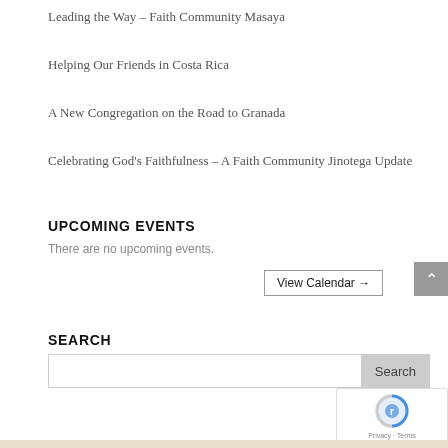Leading the Way – Faith Community Masaya
Helping Our Friends in Costa Rica
A New Congregation on the Road to Granada
Celebrating God's Faithfulness – A Faith Community Jinotega Update
UPCOMING EVENTS
There are no upcoming events.
SEARCH